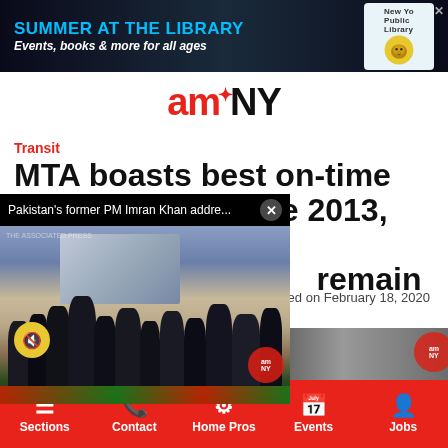[Figure (other): Advertisement banner for New York Public Library: SUMMER AT THE LIBRARY - Events, books & more for all ages, with NYPL lion logo]
[Figure (logo): amNY news website logo in red and black]
Transit
MTA boasts best on-time performance since 2013, but challenges remain
[Figure (screenshot): Video popup overlay showing Pakistan's former PM Imran Khan addressing a rally, with mute button and close button]
Posted on February 18, 2020
Sections | Contact | Home Pros | Events | Jobs